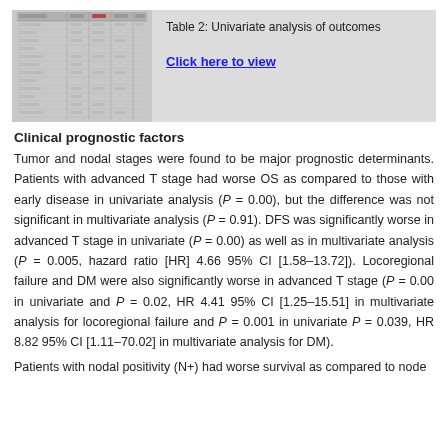[Figure (table-as-image): Thumbnail preview of Table 2: Univariate analysis of outcomes]
Table 2: Univariate analysis of outcomes
Click here to view
Clinical prognostic factors
Tumor and nodal stages were found to be major prognostic determinants. Patients with advanced T stage had worse OS as compared to those with early disease in univariate analysis (P = 0.00), but the difference was not significant in multivariate analysis (P = 0.91). DFS was significantly worse in advanced T stage in univariate (P = 0.00) as well as in multivariate analysis (P = 0.005, hazard ratio [HR] 4.66 95% CI [1.58–13.72]). Locoregional failure and DM were also significantly worse in advanced T stage (P = 0.00 in univariate and P = 0.02, HR 4.41 95% CI [1.25–15.51] in multivariate analysis for locoregional failure and P = 0.001 in univariate P = 0.039, HR 8.82 95% CI [1.11–70.02] in multivariate analysis for DM).
Patients with nodal positivity (N+) had worse survival as compared to node